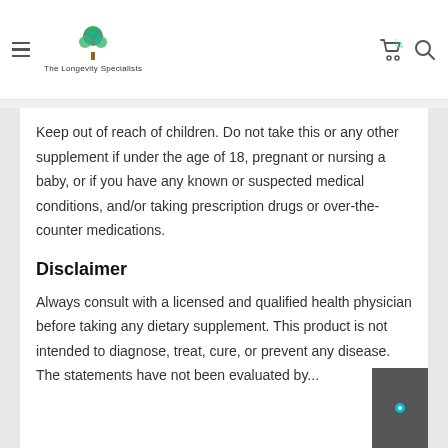The Longevity Specialists — navigation bar with logo, cart, and search
Keep out of reach of children. Do not take this or any other supplement if under the age of 18, pregnant or nursing a baby, or if you have any known or suspected medical conditions, and/or taking prescription drugs or over-the-counter medications.
Disclaimer
Always consult with a licensed and qualified health physician before taking any dietary supplement. This product is not intended to diagnose, treat, cure, or prevent any disease. The statements have not been evaluated by...